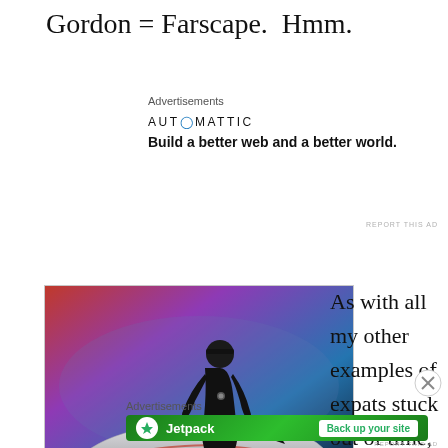Gordon = Farscape.  Hmm.
Advertisements
[Figure (screenshot): Automattic advertisement: logo text 'AUTOMATTIC' with tagline 'Build a better web and a better world.']
[Figure (photo): A person in a dark uniform and cap posing beside a futuristic white and black concept car against a blue/purple lit background]
As with all my other examples of expats stuck out of time,
Advertisements
[Figure (screenshot): Jetpack advertisement with green background showing lightning bolt icon, 'Jetpack' logo, and 'Back up your site' button]